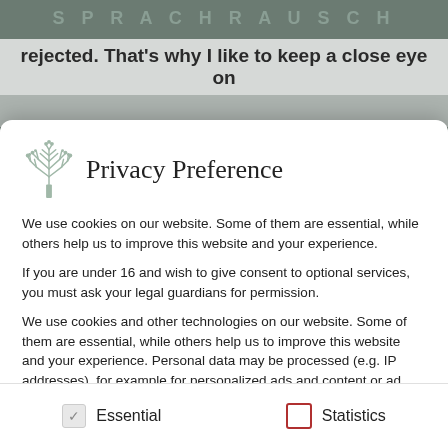SPRACHRAUSCH
rejected. That's why I like to keep a close eye on
Privacy Preference
We use cookies on our website. Some of them are essential, while others help us to improve this website and your experience.
If you are under 16 and wish to give consent to optional services, you must ask your legal guardians for permission.
We use cookies and other technologies on our website. Some of them are essential, while others help us to improve this website and your experience. Personal data may be processed (e.g. IP addresses), for example for personalized ads and content or ad and content measurement. You can find more information about the use of your data in our privacy policy. You can revoke
Essential
Statistics